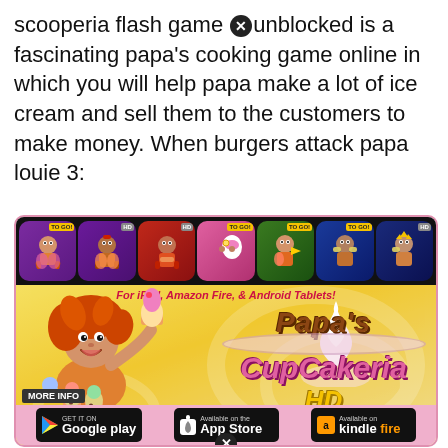scooperia flash game ✕ unblocked is a fascinating papa's cooking game online in which you will help papa make a lot of ice cream and sell them to the customers to make money. When burgers attack papa louie 3:
[Figure (illustration): Papa's Cupcakeria HD promotional banner showing game app icons strip at top, a cartoon character holding cupcakes, 'Papa's Cupcakeria HD' logo, store download buttons for Google Play, App Store, and Kindle Fire]